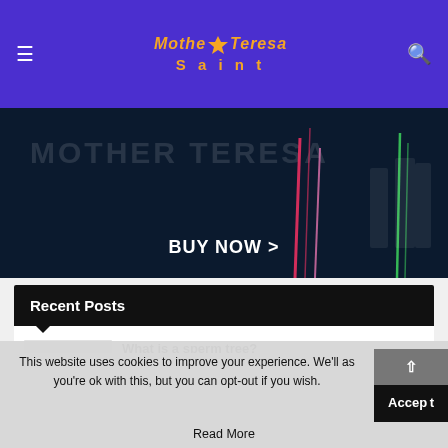Mother Teresa Saint — navigation header with hamburger menu and search icon
[Figure (screenshot): Dark banner with 'BUY NOW >' text and colorful vertical light streaks on dark background]
Recent Posts
What is a sperm tree? — 0 comments
What is the meaning of a Lechuza?
This website uses cookies to improve your experience. We'll as you're ok with this, but you can opt-out if you wish.
Read More